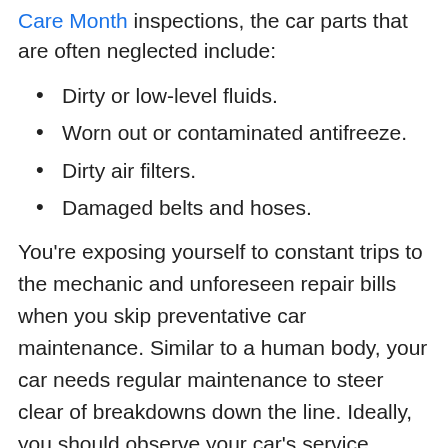Care Month inspections, the car parts that are often neglected include:
Dirty or low-level fluids.
Worn out or contaminated antifreeze.
Dirty air filters.
Damaged belts and hoses.
You’re exposing yourself to constant trips to the mechanic and unforeseen repair bills when you skip preventative car maintenance. Similar to a human body, your car needs regular maintenance to steer clear of breakdowns down the line. Ideally, you should observe your car’s service schedule. This will ensure you’re